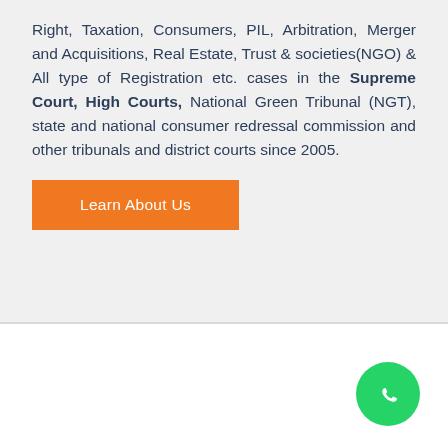Right, Taxation, Consumers, PIL, Arbitration, Merger and Acquisitions, Real Estate, Trust & societies(NGO) & All type of Registration etc. cases in the Supreme Court, High Courts, National Green Tribunal (NGT), state and national consumer redressal commission and other tribunals and district courts since 2005.
Learn About Us
[Figure (logo): WhatsApp chat button — green circular icon with white speech bubble / phone icon]